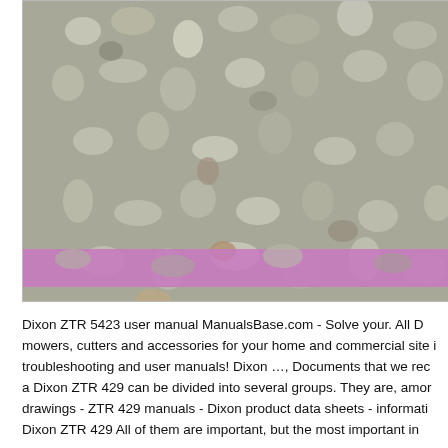[Figure (photo): Close-up photo of gravel/crushed stone with a horizontal pink/purple band visible near the bottom of the image. The image is cropped and extends beyond the right edge of the page.]
Dixon ZTR 5423 user manual ManualsBase.com - Solve your. All Dixon mowers, cutters and accessories for your home and commercial site troubleshooting and user manuals! Dixon …, Documents that we rec a Dixon ZTR 429 can be divided into several groups. They are, among drawings - ZTR 429 manuals - Dixon product data sheets - informati Dixon ZTR 429 All of them are important, but the most important in